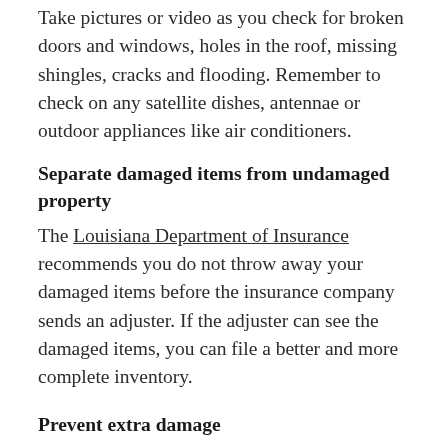Take pictures or video as you check for broken doors and windows, holes in the roof, missing shingles, cracks and flooding. Remember to check on any satellite dishes, antennae or outdoor appliances like air conditioners.
Separate damaged items from undamaged property
The Louisiana Department of Insurance recommends you do not throw away your damaged items before the insurance company sends an adjuster. If the adjuster can see the damaged items, you can file a better and more complete inventory.
Prevent extra damage
If your property has suffered damage to its roof, doors or windows, it may be more vulnerable to